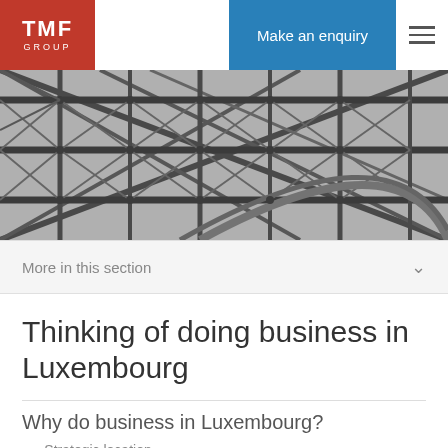TMF GROUP | Make an enquiry
[Figure (photo): Black and white architectural photo showing metal bridge or Eiffel Tower structure with intricate steel lattice girders and framework]
More in this section
Thinking of doing business in Luxembourg
Why do business in Luxembourg?
Strategic location